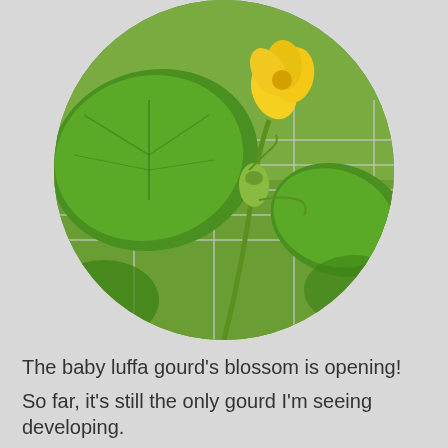[Figure (photo): Circular cropped photo of a luffa gourd plant with large green leaves, a yellow blossom, and wire trellis in the background with grass visible.]
The baby luffa gourd's blossom is opening!
So far, it's still the only gourd I'm seeing developing.
Privacy & Cookies: This site uses cookies. By continuing to use this website, you agree to their use.
To find out more, including how to control cookies, see here: Cookie Policy
Close and accept
...decided to showcase pictures of the gourd and it has...